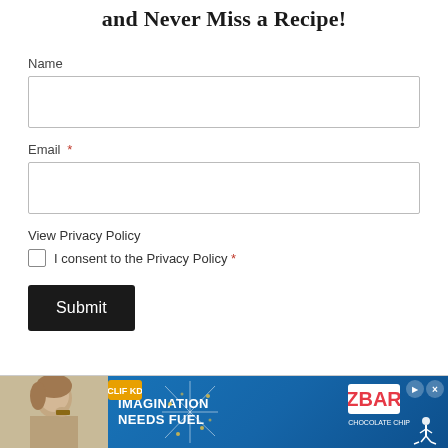and Never Miss a Recipe!
Name
Email *
View Privacy Policy
I consent to the Privacy Policy *
Submit
[Figure (photo): Advertisement banner for Clif KD Z Bar with a child eating a snack bar, blue background, text 'IMAGINATION NEEDS FUEL']